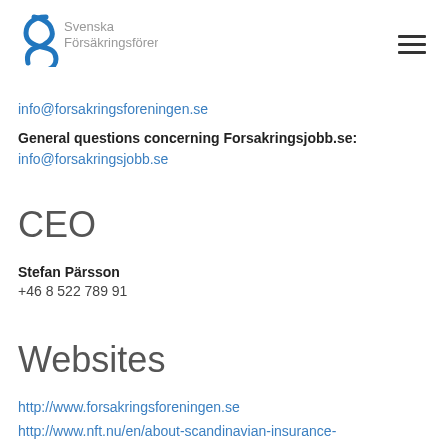[Figure (logo): Svenska Försäkringsföreningen logo with blue stylized 'sf' icon and gray text]
info@forsakringsforeningen.se
General questions concerning Forsakringsjobb.se:
info@forsakringsjobb.se
CEO
Stefan Pärsson
+46 8 522 789 91
Websites
http://www.forsakringsforeningen.se
http://www.nft.nu/en/about-scandinavian-insurance-